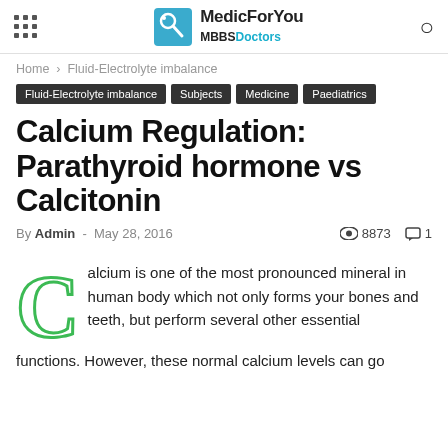MedicForYou MBBS Doctors
Home › Fluid-Electrolyte imbalance
Fluid-Electrolyte imbalance | Subjects | Medicine | Paediatrics
Calcium Regulation: Parathyroid hormone vs Calcitonin
By Admin - May 28, 2016  👁 8873  💬 1
Calcium is one of the most pronounced mineral in human body which not only forms your bones and teeth, but perform several other essential functions. However, these normal calcium levels can go